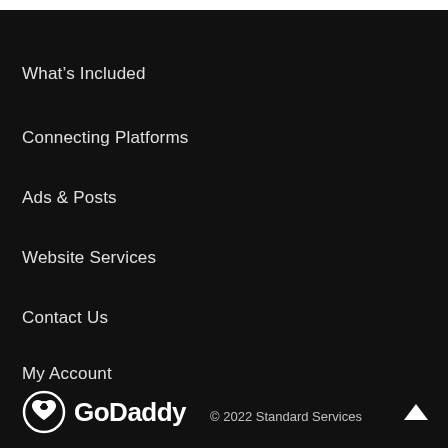What's Included
Connecting Platforms
Ads & Posts
Website Services
Contact Us
My Account
GoDaddy © 2022 Standard Services